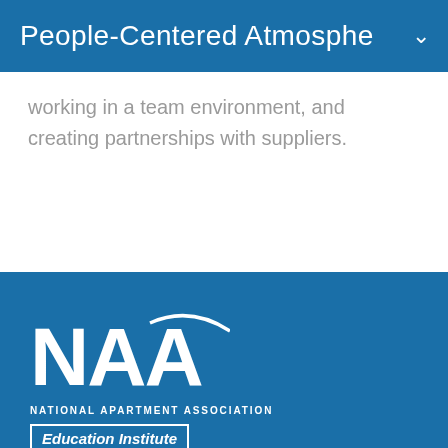People-Centered Atmosphe
working in a team environment, and creating partnerships with suppliers.
[Figure (logo): NAA National Apartment Association Education Institute logo with tagline 'Real Communities, Real Careers' on blue background]